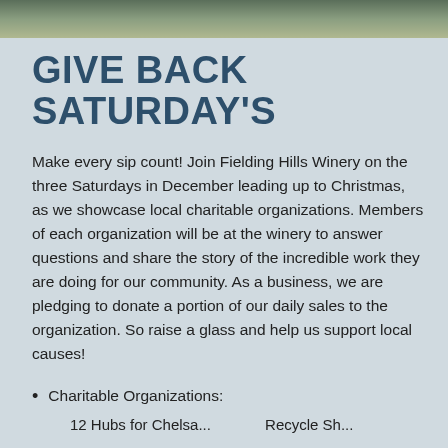[Figure (photo): Landscape photo strip at top of page showing green foliage and trees]
GIVE BACK SATURDAY'S
Make every sip count! Join Fielding Hills Winery on the three Saturdays in December leading up to Christmas, as we showcase local charitable organizations. Members of each organization will be at the winery to answer questions and share the story of the incredible work they are doing for our community. As a business, we are pledging to donate a portion of our daily sales to the organization. So raise a glass and help us support local causes!
Charitable Organizations:
12 Hubs for Chelsa...